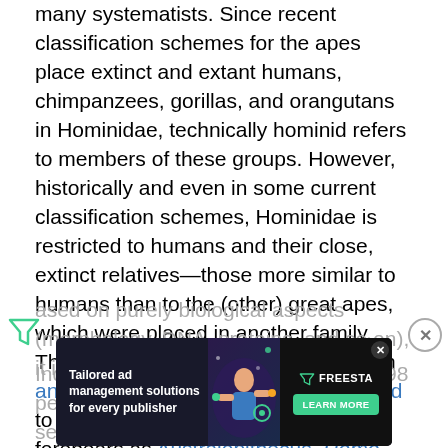many systematists. Since recent classification schemes for the apes place extinct and extant humans, chimpanzees, gorillas, and orangutans in Hominidae, technically hominid refers to members of these groups. However, historically and even in some current classification schemes, Hominidae is restricted to humans and their close, extinct relatives—those more similar to humans than to the (other) great apes, which were placed in another family. Thus, there is a tradition, particularly in anthropology, of using the term hominid to refer only to humans and such forebears as Australopithecus, Homo habilis, and Homo erectus. In this sense, humans are considered the only surviving hominids.
Based on purely biological aspects (morphology, DNA, proteins, and so on), it is clear the humans are primates.
[Figure (other): Advertisement banner for Freestar tailored ad management solutions, with decorative illustration of a person and tech icons.]
Indeed, humans share 98 percent ... protein sequences, allele differences, DNA nucleotide sequences)